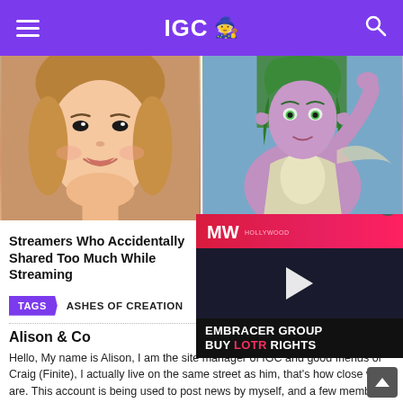IGC
[Figure (photo): Close-up photo of a smiling young woman with brown hair]
[Figure (photo): Fantasy game character with green hair and purple skin in armor]
Streamers Who Accidentally Shared Too Much While Streaming
WoW Players Renewed On Highly Demanded Change
TAGS   ASHES OF CREATION
Alison & Co
Hello, My name is Alison, I am the site manager of IGC and good friends of Craig (Finite), I actually live on the same street as him, that's how close we are. This account is being used to post news by myself, and a few members of our team. Personally, I am an avid fan of JRPG's and RPG's in general, I also love old school
[Figure (screenshot): Advertisement overlay: MW Hollywood - Embracer Group Buy LOTR Rights]